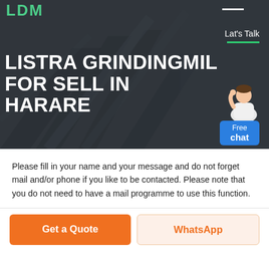[Figure (screenshot): Hero banner with industrial/mining equipment background (conveyor belts, machinery) in dark overlay. Contains logo 'LDM' in teal/green, 'Lat's Talk' text with green underline, main title text, and a chat widget with person illustration and blue 'Free chat' button.]
LISTRA GRINDINGMIL FOR SELL IN HARARE
Please fill in your name and your message and do not forget mail and/or phone if you like to be contacted. Please note that you do not need to have a mail programme to use this function.
Get a Quote
WhatsApp